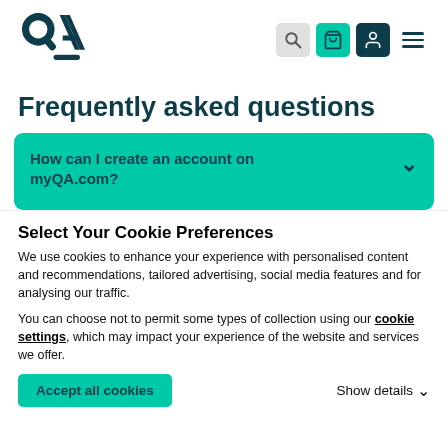[Figure (logo): QA logo in dark teal color]
Frequently asked questions
How can I create an account on myQA.com?
Select Your Cookie Preferences
We use cookies to enhance your experience with personalised content and recommendations, tailored advertising, social media features and for analysing our traffic.
You can choose not to permit some types of collection using our cookie settings, which may impact your experience of the website and services we offer.
Accept all cookies
Show details